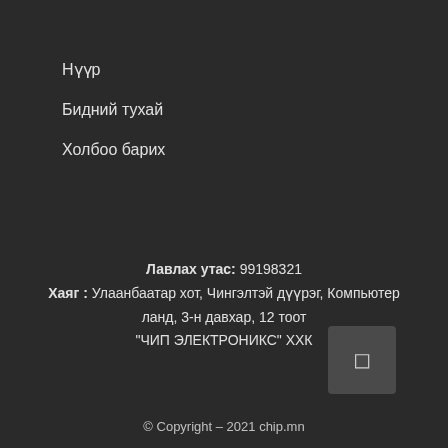Нүүр
Бидний тухай
Холбоо барих
Лавлах утас: 99198321
Хаяг : Улаанбаатар хот, Чингэлтэй дүүрэг, Компьютер ланд, 3-н давхар, 12 тоот
"ЧИП ЭЛЕКТРОНИКС" ХХК
© Copyright – 2021 chip.mn